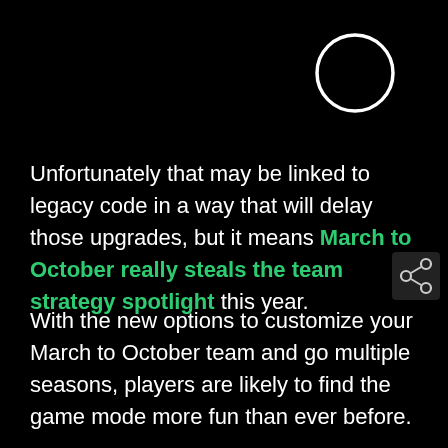[Figure (illustration): White circle outline decorative element in upper right area of black background]
Unfortunately that may be linked to legacy code in a way that will delay those upgrades, but it means March to October really steals the team strategy spotlight this year.
[Figure (other): Share icon (interconnected dots) in dark grey box at right side]
With the new options to customize your March to October team and go multiple seasons, players are likely to find the game mode more fun than ever before.